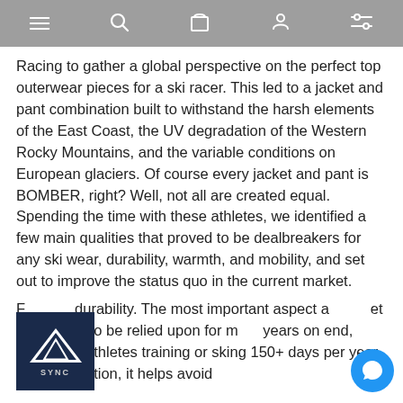[navigation bar with menu, search, bag, user, filter icons]
Racing to gather a global perspective on the perfect top outerwear pieces for a ski racer. This led to a jacket and pant combination built to withstand the harsh elements of the East Coast, the UV degradation of the Western Rocky Mountains, and the variable conditions on European glaciers. Of course every jacket and pant is BOMBER, right? Well, not all are created equal. Spending the time with these athletes, we identified a few main qualities that proved to be dealbreakers for any ski wear, durability, warmth, and mobility, and set out to improve the status quo in the current market.
F[logo]durability. The most important aspect a[logo]et that needs to be relied upon for m... years on end, especially athletes training or skiing 150+ days per year. (Not to mention, it helps avoid